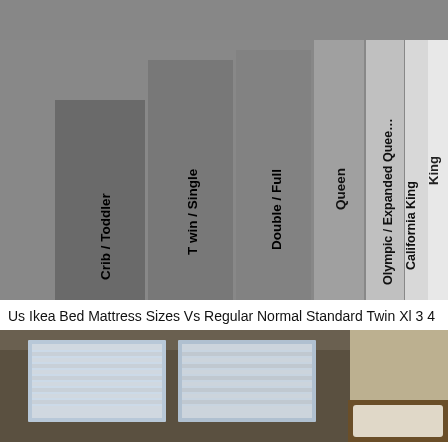[Figure (infographic): Bar chart comparing US bed/mattress sizes by width, shown as vertical bars of increasing width and lightening gray shades from left to right. Labels (rotated vertically): Crib / Toddler, Twin / Single, Double / Full, Queen, Olympic / Expanded Queen, California King, King.]
Us Ikea Bed Mattress Sizes Vs Regular Normal Standard Twin Xl 3 4
[Figure (photo): Interior bedroom photo showing two windows with blinds on a wall, with a bed frame/headboard partially visible in the lower right corner. Room walls are beige/tan color.]